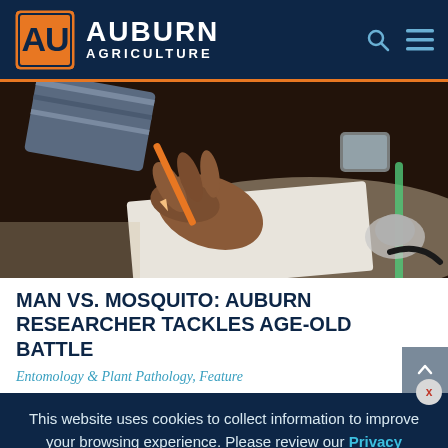AUBURN AGRICULTURE
[Figure (photo): Close-up photo of a researcher's hand holding an orange instrument/brush over a white surface with small dark insects (mosquitoes), dark laboratory background with equipment visible]
MAN VS. MOSQUITO: AUBURN RESEARCHER TACKLES AGE-OLD BATTLE
Entomology & Plant Pathology, Feature
This website uses cookies to collect information to improve your browsing experience. Please review our Privacy Statement for more information.